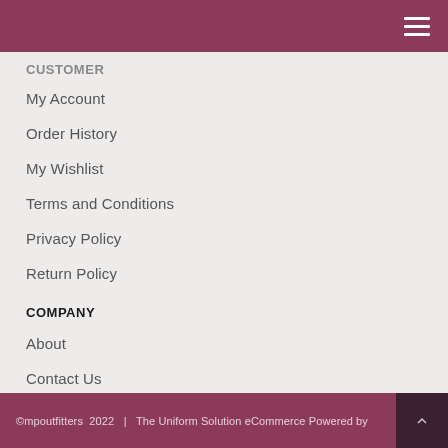CUSTOMER
My Account
Order History
My Wishlist
Terms and Conditions
Privacy Policy
Return Policy
COMPANY
About
Contact Us
PAYMENT PARTNERS
©mpoutfitters  2022   |   The Uniform Solution eCommerce Powered by